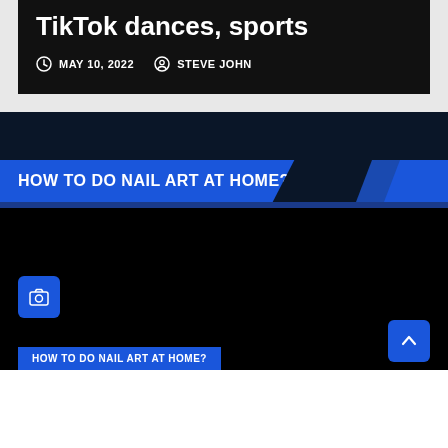TikTok dances, sports
MAY 10, 2022   STEVE JOHN
HOW TO DO NAIL ART AT HOME?
[Figure (screenshot): Black image area with a blue camera icon button and a blue arrow-up scroll button, and a blue label at the bottom reading HOW TO DO NAIL ART AT HOME?]
HOW TO DO NAIL ART AT HOME?